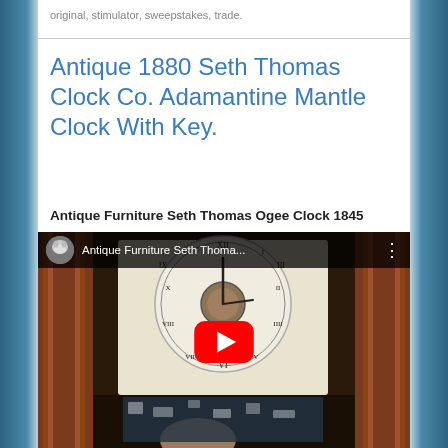original, stimulator, sweepstakes, trade.
Antique 1880 Seth Thomas Clock Co. Adamantine Mantle Clock With Key.
Antique Furniture Seth Thomas Ogee Clock 1845
[Figure (screenshot): YouTube video thumbnail showing an antique Seth Thomas mantle clock with a white clock face with Roman numerals, flanked by dark wood columns. A YouTube play button overlay is visible. The video bar at top shows a wolf avatar icon and the title 'Antique Furniture Seth Thoma...' with a three-dot menu.]